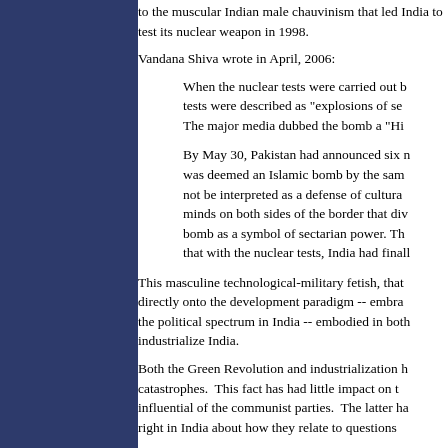to the muscular Indian male chauvinism that led India to test its nuclear weapon in 1998.
Vandana Shiva wrote in April, 2006:
When the nuclear tests were carried out by India in 1998, the tests were described as "explosions of self-expression"... The major media dubbed the bomb a "Hi...
By May 30, Pakistan had announced six nuclear tests... it was deemed an Islamic bomb by the same logic... not be interpreted as a defense of cultural... minds on both sides of the border that div... bomb as a symbol of sectarian power. Th... that with the nuclear tests, India had finall...
This masculine technological-military fetish, that... directly onto the development paradigm -- embra... the political spectrum in India -- embodied in both... industrialize India.
Both the Green Revolution and industrialization h... catastrophes.  This fact has had little impact on t... influential of the communist parties.  The latter h... right in India about how they relate to questions...
While the USINCP purports to be an agreement... it is centrally and absolutely about nuclear weap... War and the epic political contest between China... machismo associated with The Bomb, the circum... more analogous to that of the archetypical coy p...